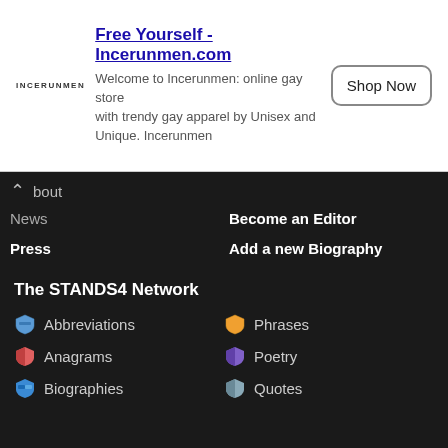[Figure (other): Ad banner for Incerunmen.com with logo, title 'Free Yourself - Incerunmen.com', description text, and 'Shop Now' button]
bout
News
Press
Awards
Testimonials
Become an Editor
Add a new Biography
Meet the Editors
Recently Added
Activity Log
Services
Legal & Contact
Tools
Tell a Friend
Bookmark Us
Promote
Terms of Use
Privacy Policy
Contact Us
Advertise
The STANDS4 Network
Abbreviations
Phrases
Anagrams
Poetry
Biographies
Quotes